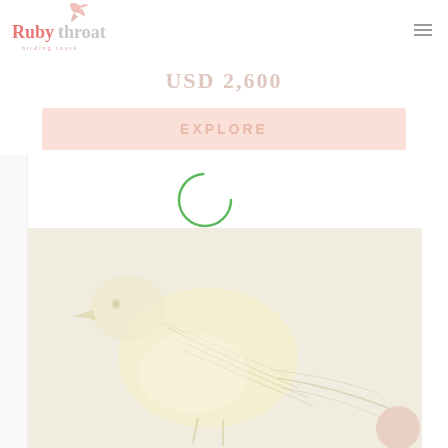[Figure (logo): Rubythroat Birding Tours logo with bird silhouette above stylized text]
USD 2,600
Explore
[Figure (infographic): Loading spinner circle (green outline) overlaid on page]
[Figure (illustration): Illustrated bird (light yellowish tones) perched, with detailed feather linework, on a pale warm background]